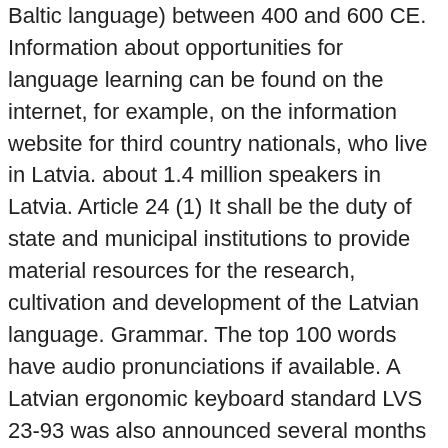Baltic language) between 400 and 600 CE. Information about opportunities for language learning can be found on the internet, for example, on the information website for third country nationals, who live in Latvia. about 1.4 million speakers in Latvia. Article 24 (1) It shall be the duty of state and municipal institutions to provide material resources for the research, cultivation and development of the Latvian language. Grammar. The top 100 words have audio pronunciations if available. A Latvian ergonomic keyboard standard LVS 23-93 was also announced several months later, but it didn't gain popularity due to its need for a custom-built keyboard.[27]. There are three dialects in Latvian: the Livonian dialect, High Latvian and the Middle dialect. Download a Latvian alphabet chart (Excel) These show, for example, the relationship between Latvian and Latin. Check the numeral that matches the Latvian word. appeared in 1585. Latvian is the official language of Latvia and is one of the 24 official languages of the European Union. Latvian is taught as a second language in the initial stages too, as is officially declared, to encourage proficiency